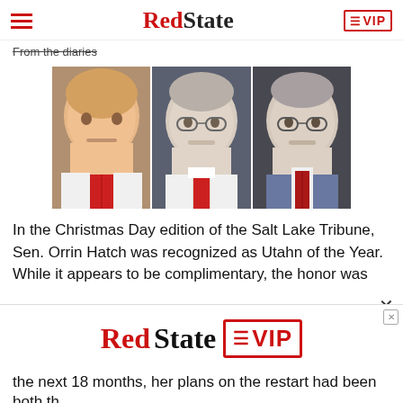RedState EVIP
From the diaries
[Figure (photo): Three portrait photos side by side: Donald Trump (left), Orrin Hatch (center), Mitch McConnell (right)]
In the Christmas Day edition of the Salt Lake Tribune, Sen. Orrin Hatch was recognized as Utahn of the Year. While it appears to be complimentary, the honor was
[Figure (advertisement): RedState VIP advertisement banner]
the next 18 months, her plans on the restart had been both th